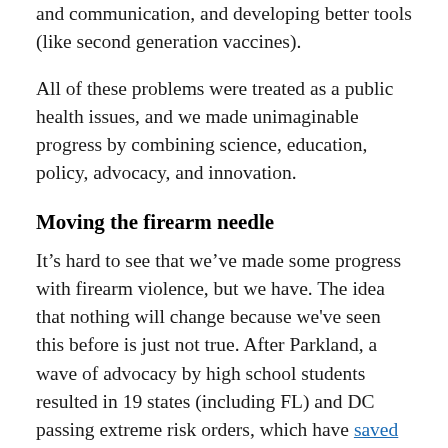and communication, and developing better tools (like second generation vaccines).
All of these problems were treated as a public health issues, and we made unimaginable progress by combining science, education, policy, advocacy, and innovation.
Moving the firearm needle
It’s hard to see that we’ve made some progress with firearm violence, but we have. The idea that nothing will change because we've seen this before is just not true. After Parkland, a wave of advocacy by high school students resulted in 19 states (including FL) and DC passing extreme risk orders, which have saved lives. After Sandy Hook, Connecticut passed a permit law that has saved lives, and other states also took action,